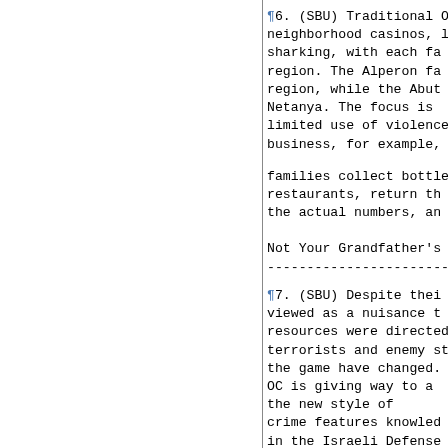¶6. (SBU) Traditional O neighborhood casinos, l sharking, with each fa region. The Alperon fa region, while the Abut Netanya. The focus is limited use of violence business, for example,
families collect bottle restaurants, return th the actual numbers, an
Not Your Grandfather's
¶7. (SBU) Despite thei viewed as a nuisance t resources were directed terrorists and enemy s the game have changed. OC is giving way to a the new style of crime features knowled in the Israeli Defense indiscriminate violence OC business also inclu market and credit card
¶8.  (SBU) As the reac